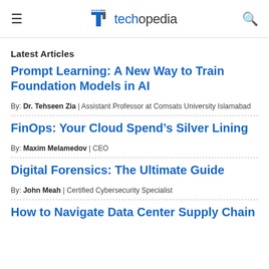techopedia
Latest Articles
Prompt Learning: A New Way to Train Foundation Models in AI
By: Dr. Tehseen Zia | Assistant Professor at Comsats University Islamabad
FinOps: Your Cloud Spend's Silver Lining
By: Maxim Melamedov | CEO
Digital Forensics: The Ultimate Guide
By: John Meah | Certified Cybersecurity Specialist
How to Navigate Data Center Supply Chain